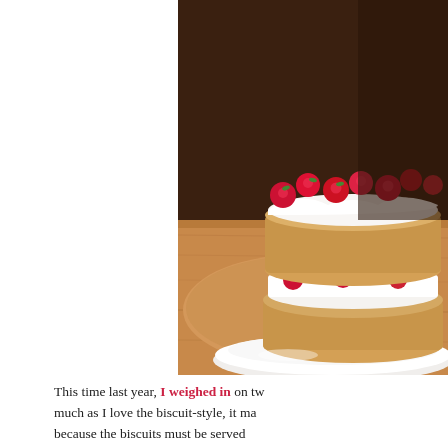[Figure (photo): A layered shortcake or biscuit dessert topped with whipped cream and fresh raspberries, sitting on a white plate on a wooden surface. The cake has two layers with cream and berries between and on top. Dark background behind.]
This time last year, I weighed in on tw… much as I love the biscuit-style, it ma… because the biscuits must be served … cake version with whipped crème fr… year. Only this time, I wanted a show… berries to mark Little Brother's belat…